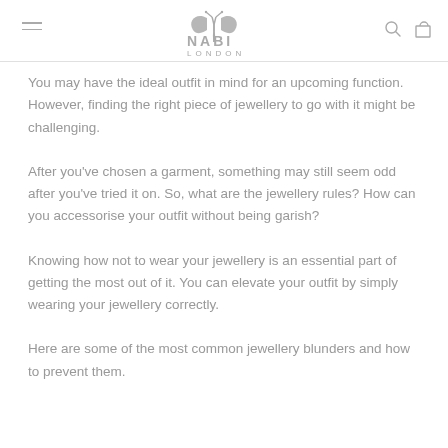NABI LONDON
You may have the ideal outfit in mind for an upcoming function. However, finding the right piece of jewellery to go with it might be challenging.
After you've chosen a garment, something may still seem odd after you've tried it on. So, what are the jewellery rules? How can you accessorise your outfit without being garish?
Knowing how not to wear your jewellery is an essential part of getting the most out of it. You can elevate your outfit by simply wearing your jewellery correctly.
Here are some of the most common jewellery blunders and how to prevent them.